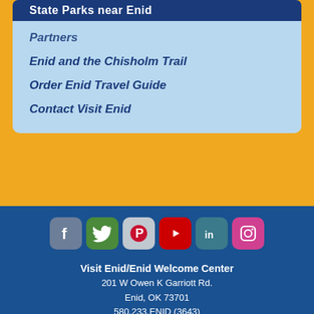State Parks near Enid
Partners
Enid and the Chisholm Trail
Order Enid Travel Guide
Contact Visit Enid
[Figure (infographic): Row of six social media icons: Facebook (grey-blue), Twitter (green), Pinterest (light grey), YouTube (red), LinkedIn (teal), Instagram (pink-magenta)]
Visit Enid/Enid Welcome Center
201 W Owen K Garriott Rd.
Enid, OK 73701
580.233.ENID (3643)
Open Mon-Fri 8 am-Noon, 1 pm-5 pm